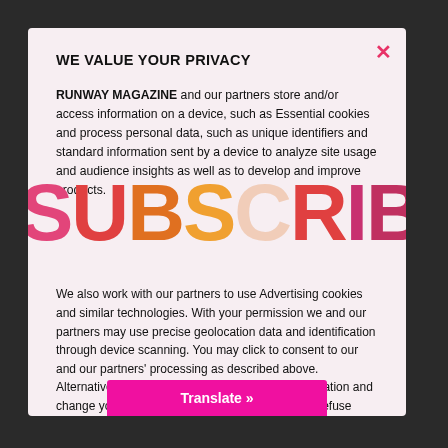WE VALUE YOUR PRIVACY
RUNWAY MAGAZINE and our partners store and/or access information on a device, such as Essential cookies and process personal data, such as unique identifiers and standard information sent by a device to analyze site usage and audience insights as well as to develop and improve products.
[Figure (other): Large colorful SUBSCRIBE text overlay in pink, red, orange, and light colors spanning across the modal]
We also work with our partners to use Advertising cookies and similar technologies. With your permission we and our partners may use precise geolocation data and identification through device scanning. You may click to consent to our and our partners' processing as described above. Alternatively you may access more detailed information and change your preferences before consenting or to refuse consenting.
Translate »